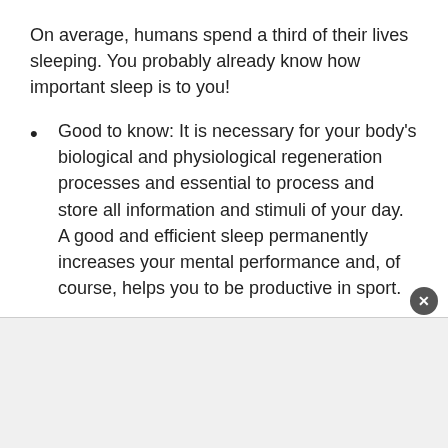On average, humans spend a third of their lives sleeping. You probably already know how important sleep is to you!
Good to know: It is necessary for your body's biological and physiological regeneration processes and essential to process and store all information and stimuli of your day. A good and efficient sleep permanently increases your mental performance and, of course, helps you to be productive in sport.
Sleep problems, on the other hand, are common worldwide. A distinction can be made between falling asleep and sleeping through the night, regular waking up in between or simply no restful sleep. Everyone has